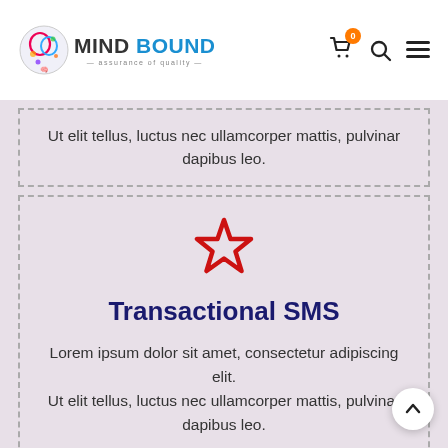MIND BOUND — assurance of quality
Ut elit tellus, luctus nec ullamcorper mattis, pulvinar dapibus leo.
Transactional SMS
Lorem ipsum dolor sit amet, consectetur adipiscing elit. Ut elit tellus, luctus nec ullamcorper mattis, pulvinar dapibus leo.